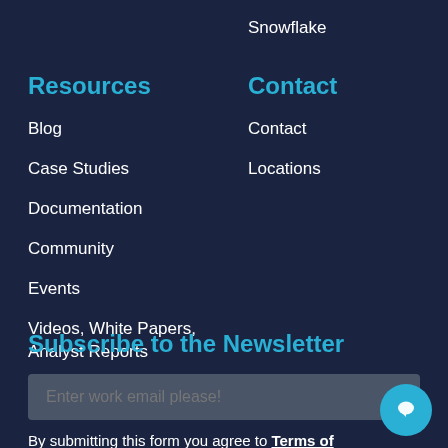Snowflake
Resources
Contact
Blog
Contact
Case Studies
Locations
Documentation
Community
Events
Videos, White Papers, Analyst Reports
Subscribe to the Newsletter
Enter work email please!
By submitting this form you agree to Terms of Service and the Privacy Policy